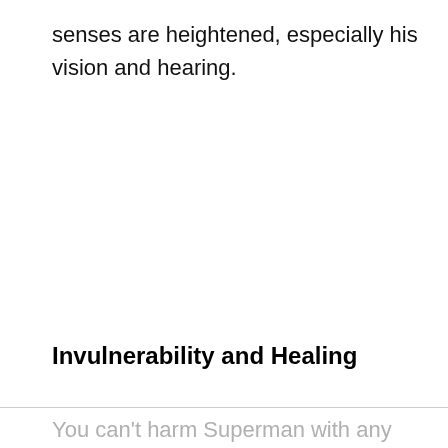senses are heightened, especially his vision and hearing.
Invulnerability and Healing
You can't harm Superman with any Earth-made physical weapons or strikes. Even if he gets nicked